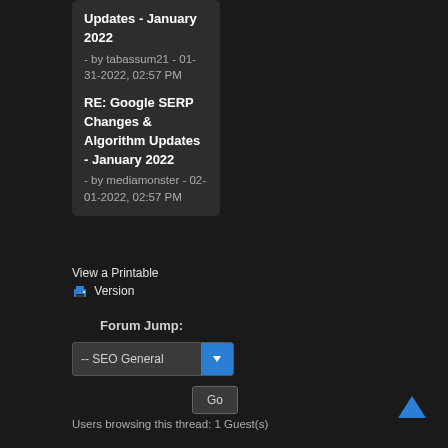Updates - January 2022 - by tabassum21 - 01-31-2022, 02:57 PM
RE: Google SERP Changes & Algorithm Updates - January 2022 - by mediamonster - 02-01-2022, 02:57 PM
View a Printable Version
Forum Jump:
-- SEO General
Go
Users browsing this thread: 1 Guest(s)